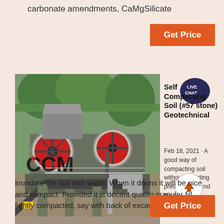carbonate amendments, CaMgSilicate
[Figure (other): Orange 'Get Price' button at top right]
[Figure (photo): Industrial rock crushing machinery with large red flywheels and conveyors, branded CCM]
[Figure (other): Live Chat bubble icon overlay in dark blue]
Self Compacting Soil (#57 stone) Geotechnical
Feb 16, 2021 · A good way of compacting soil without imparting pressures behind the wall is to
[Figure (other): Circular scroll-to-top arrow button]
inundate the soil with water. When it drains it will be nice and compact. Provided it is decent quality granular fill, lightly compacted, say with back of excavator bucket or 1
[Figure (other): Orange 'Get Price' button at bottom right]